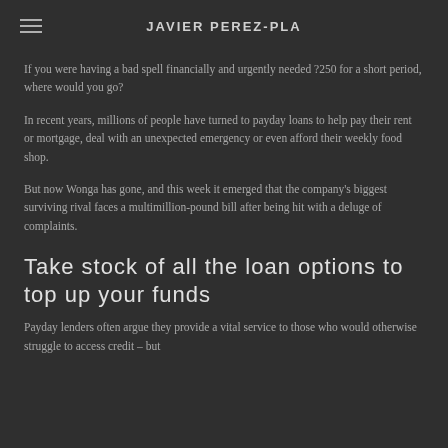JAVIER PEREZ-PLA
If you were having a bad spell financially and urgently needed ?250 for a short period, where would you go?
In recent years, millions of people have turned to payday loans to help pay their rent or mortgage, deal with an unexpected emergency or even afford their weekly food shop.
But now Wonga has gone, and this week it emerged that the company's biggest surviving rival faces a multimillion-pound bill after being hit with a deluge of complaints.
Take stock of all the loan options to top up your funds
Payday lenders often argue they provide a vital service to those who would otherwise struggle to access credit – but